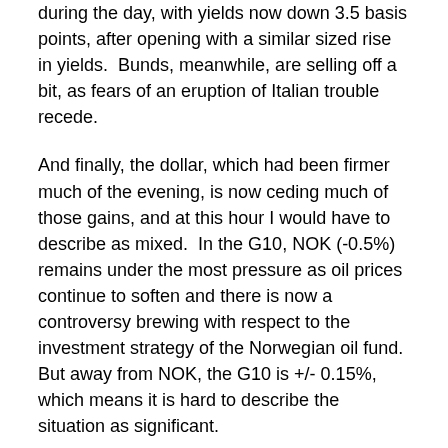during the day, with yields now down 3.5 basis points, after opening with a similar sized rise in yields.  Bunds, meanwhile, are selling off a bit, as fears of an eruption of Italian trouble recede.
And finally, the dollar, which had been firmer much of the evening, is now ceding much of those gains, and at this hour I would have to describe as mixed.  In the G10, NOK (-0.5%) remains under the most pressure as oil prices continue to soften and there is now a controversy brewing with respect to the investment strategy of the Norwegian oil fund.  But away from NOK, the G10 is +/- 0.15%, which means it is hard to describe the situation as significant.
In the emerging markets, ZAR (+1.1%) continues to be the most volatile currency around, with daily movements in excess of 1%.  It has become, perhaps, the best sentiment